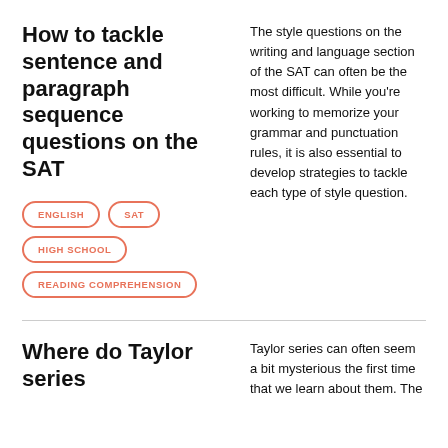How to tackle sentence and paragraph sequence questions on the SAT
ENGLISH
SAT
HIGH SCHOOL
READING COMPREHENSION
The style questions on the writing and language section of the SAT can often be the most difficult. While you're working to memorize your grammar and punctuation rules, it is also essential to develop strategies to tackle each type of style question.
Where do Taylor series
Taylor series can often seem a bit mysterious the first time that we learn about them. The